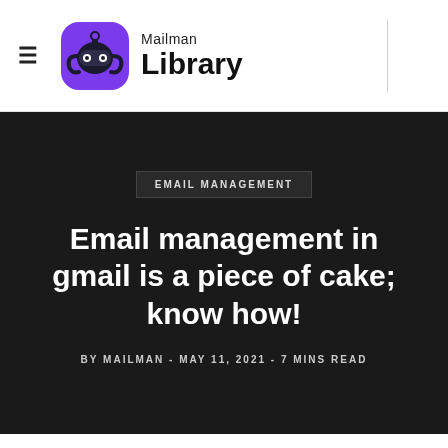Mailman Library
EMAIL MANAGEMENT
Email management in gmail is a piece of cake; know how!
BY MAILMAN - MAY 11, 2021 - 7 MINS READ